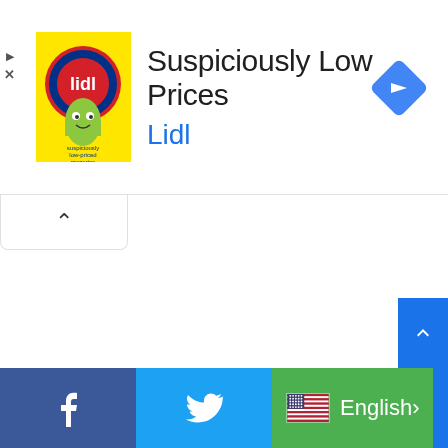[Figure (screenshot): Lidl advertisement banner showing 'Suspiciously Low Prices' text with Lidl branding, yellow logo image, and a blue navigation diamond icon on the right]
[Figure (screenshot): Collapsed UI tab with upward chevron arrow]
[Figure (screenshot): Scroll-to-top button (blue) with upward chevron]
[Figure (screenshot): Bottom navigation bar with Facebook (blue), Twitter (blue), language selector showing US flag and 'English' on green background, and additional blue strip]